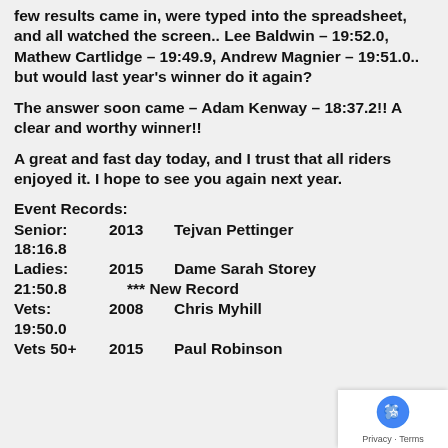few results came in, were typed into the spreadsheet, and all watched the screen.. Lee Baldwin – 19:52.0, Mathew Cartlidge – 19:49.9, Andrew Magnier – 19:51.0.. but would last year's winner do it again?
The answer soon came – Adam Kenway – 18:37.2!! A clear and worthy winner!!
A great and fast day today, and I trust that all riders enjoyed it. I hope to see you again next year.
Event Records:
Senior:    2013    Tejvan Pettinger    18:16.8
Ladies:    2015    Dame Sarah Storey    21:50.8    *** New Record
Vets:      2008    Chris Myhill    19:50.0
Vets 50+   2015    Paul Robinson